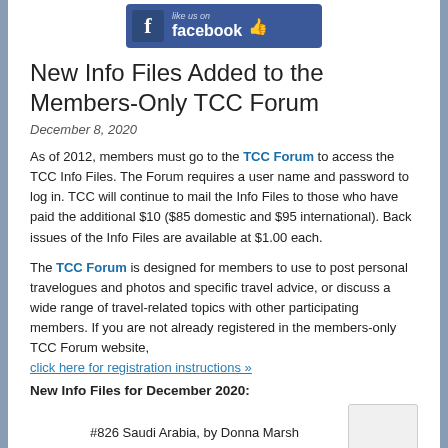[Figure (logo): Facebook 'like us on facebook' banner button with blue background, thumbs up icon]
New Info Files Added to the Members-Only TCC Forum
December 8, 2020
As of 2012, members must go to the TCC Forum to access the TCC Info Files. The Forum requires a user name and password to log in. TCC will continue to mail the Info Files to those who have paid the additional $10 ($85 domestic and $95 international). Back issues of the Info Files are available at $1.00 each.
The TCC Forum is designed for members to use to post personal travelogues and photos and specific travel advice, or discuss a wide range of travel-related topics with other participating members. If you are not already registered in the members-only TCC Forum website,
click here for registration instructions »
New Info Files for December 2020:
#826 Saudi Arabia, by Donna Marsh
#827 Venezuela and Brazil, by Noel Mann
Note: The articles are condensations of the audio presentations...